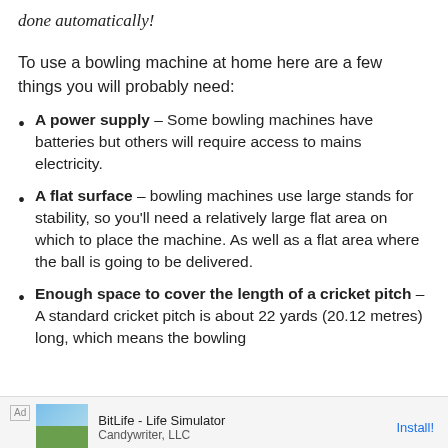done automatically!
To use a bowling machine at home here are a few things you will probably need:
A power supply – Some bowling machines have batteries but others will require access to mains electricity.
A flat surface – bowling machines use large stands for stability, so you'll need a relatively large flat area on which to place the machine. As well as a flat area where the ball is going to be delivered.
Enough space to cover the length of a cricket pitch – A standard cricket pitch is about 22 yards (20.12 metres) long, which means the bowling
[Figure (other): Ad banner: BitLife - Life Simulator by Candywriter, LLC with Install button]